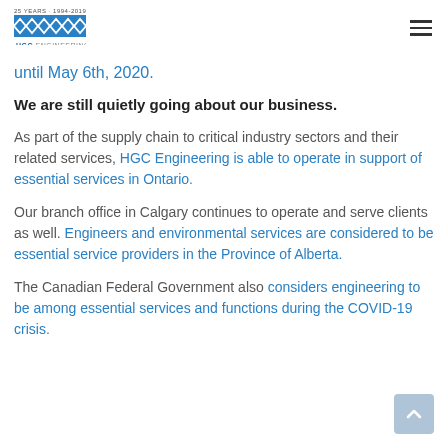25 YEARS · 1994-2019 HGC ENGINEERING
until May 6th, 2020.
We are still quietly going about our business.
As part of the supply chain to critical industry sectors and their related services, HGC Engineering is able to operate in support of essential services in Ontario.
Our branch office in Calgary continues to operate and serve clients as well. Engineers and environmental services are considered to be essential service providers in the Province of Alberta.
The Canadian Federal Government also considers engineering to be among essential services and functions during the COVID-19 crisis.